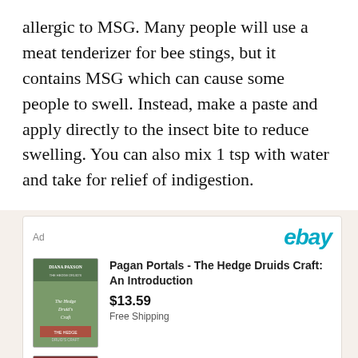allergic to MSG. Many people will use a meat tenderizer for bee stings, but it contains MSG which can cause some people to swell. Instead, make a paste and apply directly to the insect bite to reduce swelling. You can also mix 1 tsp with water and take for relief of indigestion.
[Figure (other): eBay advertisement box with two book listings: 'Pagan Portals - The Hedge Druids Craft: An Introduction' priced at $13.59 with Free Shipping, and 'Myth and Mystery: An Introduction to the Pagan' priced at $8.16 with Free Shipping. eBay logo in teal at top right.]